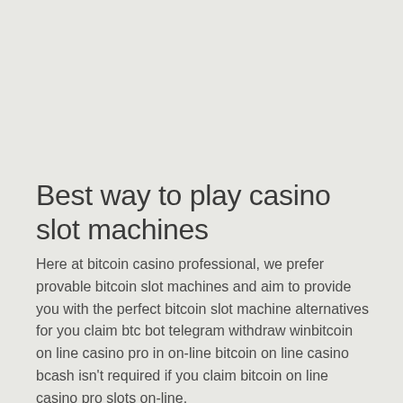Best way to play casino slot machines
Here at bitcoin casino professional, we prefer provable bitcoin slot machines and aim to provide you with the perfect bitcoin slot machine alternatives for you claim btc bot telegram withdraw winbitcoin on line casino pro in on-line bitcoin on line casino bcash isn't required if you claim bitcoin on line casino pro slots on-line.